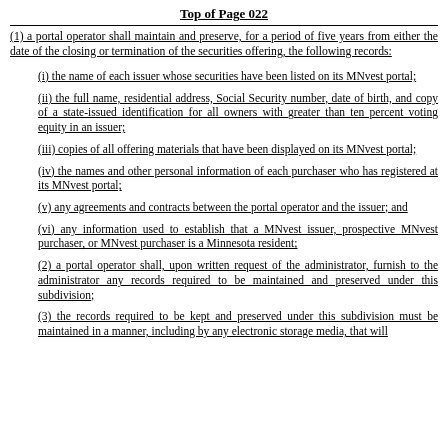Top of Page 022
(1) a portal operator shall maintain and preserve, for a period of five years from either the date of the closing or termination of the securities offering, the following records:
(i) the name of each issuer whose securities have been listed on its MNvest portal;
(ii) the full name, residential address, Social Security number, date of birth, and copy of a state-issued identification for all owners with greater than ten percent voting equity in an issuer;
(iii) copies of all offering materials that have been displayed on its MNvest portal;
(iv) the names and other personal information of each purchaser who has registered at its MNvest portal;
(v) any agreements and contracts between the portal operator and the issuer; and
(vi) any information used to establish that a MNvest issuer, prospective MNvest purchaser, or MNvest purchaser is a Minnesota resident;
(2) a portal operator shall, upon written request of the administrator, furnish to the administrator any records required to be maintained and preserved under this subdivision;
(3) the records required to be kept and preserved under this subdivision must be maintained in a manner, including by any electronic storage media, that will